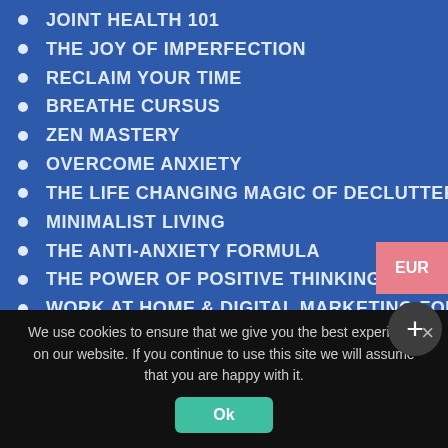JOINT HEALTH 101
THE JOY OF IMPERFECTION
RECLAIM YOUR TIME
BREATHE CURSUS
ZEN MASTERY
OVERCOME ANXIETY
THE LIFE CHANGING MAGIC OF DECLUTTERING
MINIMALIST LIVING
THE ANTI-ANXIETY FORMULA
THE POWER OF POSITIVE THINKING V2
WORK AT HOME & DIGITAL MARKETING FOR SENIORS
ADOBE PHOTOSHOP
HEALTHY LIVING
PHOTO WORKSHOP DIGITAL CAMERA
BIOHACKING SECRETS
AGE SLOWER
We use cookies to ensure that we give you the best experience on our website. If you continue to use this site we will assume that you are happy with it.
Ok